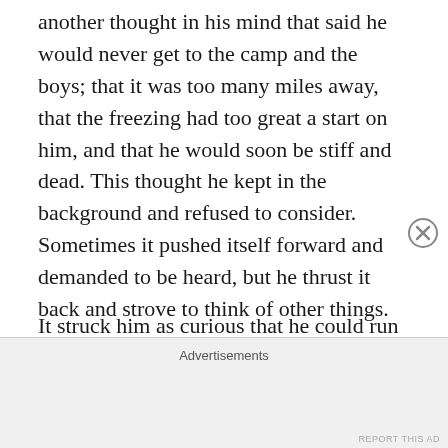another thought in his mind that said he would never get to the camp and the boys; that it was too many miles away, that the freezing had too great a start on him, and that he would soon be stiff and dead. This thought he kept in the background and refused to consider. Sometimes it pushed itself forward and demanded to be heard, but he thrust it back and strove to think of other things.
It struck him as curious that he could run at all on feet so frozen that he could not feel them when they struck the earth and took the weight of his body. He seemed to himself to skim along above the surface and to have no connection with the earth. Somewhere he had once seen a winged Mercury, and he wondered if Mercury felt as he
Advertisements